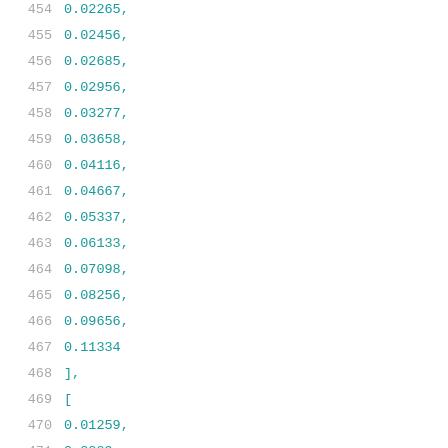454   0.02265,
455   0.02456,
456   0.02685,
457   0.02956,
458   0.03277,
459   0.03658,
460   0.04116,
461   0.04667,
462   0.05337,
463   0.06133,
464   0.07098,
465   0.08256,
466   0.09656,
467   0.11334
468   ],
469   [
470   0.01259,
471   0.0209,
472   0.02253,
473   0.02446,
474   0.02674,
475   0.02946,